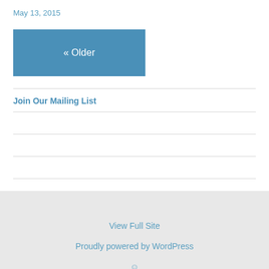May 13, 2015
« Older
Join Our Mailing List
View Full Site
Proudly powered by WordPress
☺